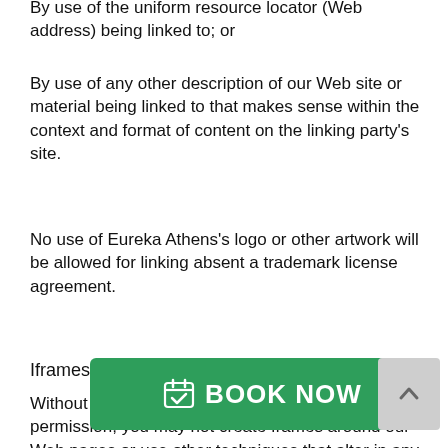By use of the uniform resource locator (Web address) being linked to; or
By use of any other description of our Web site or material being linked to that makes sense within the context and format of content on the linking party's site.
No use of Eureka Athens's logo or other artwork will be allowed for linking absent a trademark license agreement.
Iframes
Without prior approval and express written permission, you may not create frames around our Web pages or use other techniques that alter in any way the visual presentation or appearance of our Web site.
Reservation of Rights